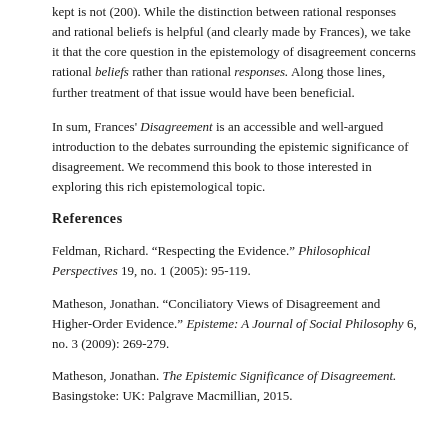kept is not (200). While the distinction between rational responses and rational beliefs is helpful (and clearly made by Frances), we take it that the core question in the epistemology of disagreement concerns rational beliefs rather than rational responses. Along those lines, further treatment of that issue would have been beneficial.
In sum, Frances' Disagreement is an accessible and well-argued introduction to the debates surrounding the epistemic significance of disagreement. We recommend this book to those interested in exploring this rich epistemological topic.
References
Feldman, Richard. “Respecting the Evidence.” Philosophical Perspectives 19, no. 1 (2005): 95-119.
Matheson, Jonathan. “Conciliatory Views of Disagreement and Higher-Order Evidence.” Episteme: A Journal of Social Philosophy 6, no. 3 (2009): 269-279.
Matheson, Jonathan. The Epistemic Significance of Disagreement. Basingstoke: UK: Palgrave Macmillian, 2015.